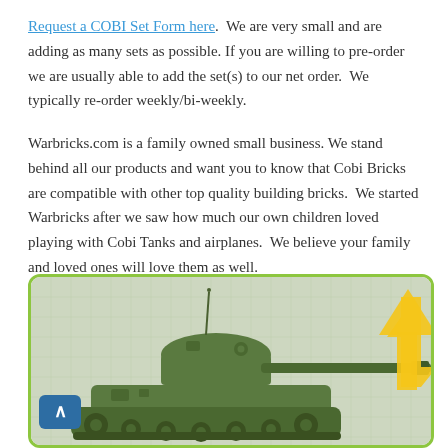Request a COBI Set Form here.  We are very small and are adding as many sets as possible. If you are willing to pre-order we are usually able to add the set(s) to our net order.  We typically re-order weekly/bi-weekly.
Warbricks.com is a family owned small business. We stand behind all our products and want you to know that Cobi Bricks are compatible with other top quality building bricks.  We started Warbricks after we saw how much our own children loved playing with Cobi Tanks and airplanes.  We believe your family and loved ones will love them as well.
[Figure (photo): A green military tank (Cobi Bricks model) with a long gun barrel, shown against a light gray grid background with a yellow arrow pointing upward on the right side. A blue scroll-up button is visible on the lower left.]